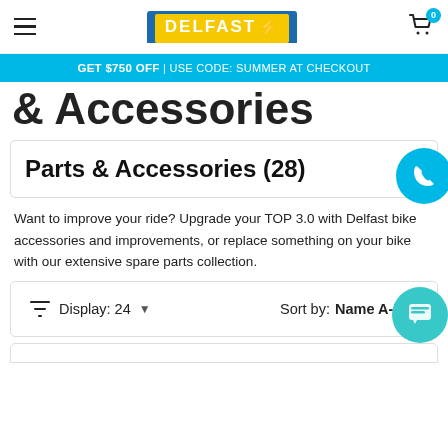DELFAST (logo) | Cart (0 items)
GET $750 OFF | USE CODE: SUMMER AT CHECKOUT
& Accessories
Parts & Accessories (28)
Want to improve your ride? Upgrade your TOP 3.0 with Delfast bike accessories and improvements, or replace something on your bike with our extensive spare parts collection.
Display: 24   Sort by: Name A-Z